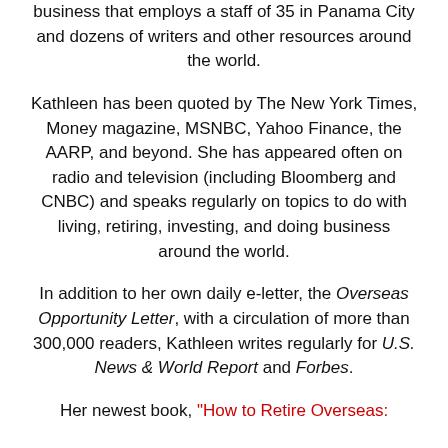business that employs a staff of 35 in Panama City and dozens of writers and other resources around the world.
Kathleen has been quoted by The New York Times, Money magazine, MSNBC, Yahoo Finance, the AARP, and beyond. She has appeared often on radio and television (including Bloomberg and CNBC) and speaks regularly on topics to do with living, retiring, investing, and doing business around the world.
In addition to her own daily e-letter, the Overseas Opportunity Letter, with a circulation of more than 300,000 readers, Kathleen writes regularly for U.S. News & World Report and Forbes.
Her newest book, "How to Retire Overseas: